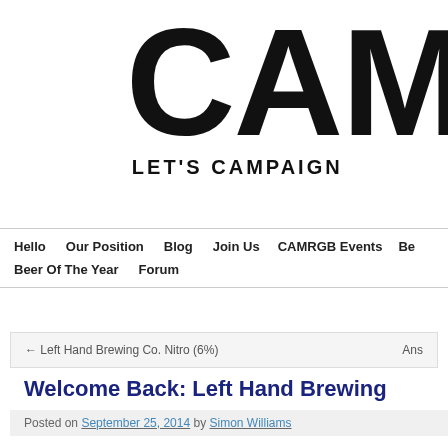[Figure (logo): CAMRGB logo showing large bold letters 'CAM' with tagline 'LET'S CAMPAIGN' below, partially cropped on right side]
Hello  Our Position  Blog  Join Us  CAMRGB Events  Be...  Beer Of The Year  Forum
← Left Hand Brewing Co. Nitro (6%)   Ans...
Welcome Back: Left Hand Brewing
Posted on September 25, 2014 by Simon Williams